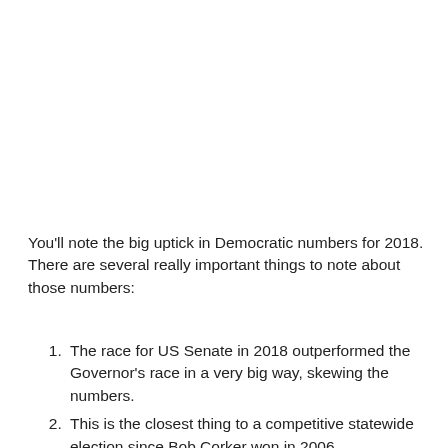You'll note the big uptick in Democratic numbers for 2018. There are several really important things to note about those numbers:
The race for US Senate in 2018 outperformed the Governor's race in a very big way, skewing the numbers.
This is the closest thing to a competitive statewide election since Bob Corker won in 2006.